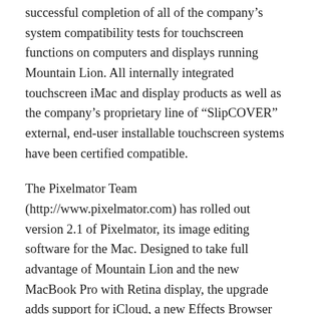successful completion of all of the company's system compatibility tests for touchscreen functions on computers and displays running Mountain Lion. All internally integrated touchscreen iMac and display products as well as the company's proprietary line of “SlipCOVER” external, end-user installable touchscreen systems have been certified compatible.
The Pixelmator Team (http://www.pixelmator.com) has rolled out version 2.1 of Pixelmator, its image editing software for the Mac. Designed to take full advantage of Mountain Lion and the new MacBook Pro with Retina display, the upgrade adds support for iCloud, a new Effects Browser with new Vintage and Miniaturize effects, smart Alignment Guides and several other enhancements.
DEVONtechnologies (www.devontechnologies.com) has served up updates for its document and information manager